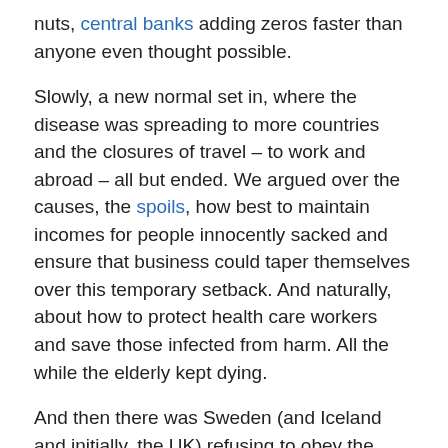nuts, central banks adding zeros faster than anyone even thought possible.
Slowly, a new normal set in, where the disease was spreading to more countries and the closures of travel – to work and abroad – all but ended. We argued over the causes, the spoils, how best to maintain incomes for people innocently sacked and ensure that business could taper themselves over this temporary setback. And naturally, about how to protect health care workers and save those infected from harm. All the while the elderly kept dying.
And then there was Sweden (and Iceland and initially, the UK) refusing to obey the invasive government measures to restrict freedom so prominent elsewhere. Mid-March, the U.K. dropped its strategy and adopted the same restrictive measures dominating other countries, seemingly to no